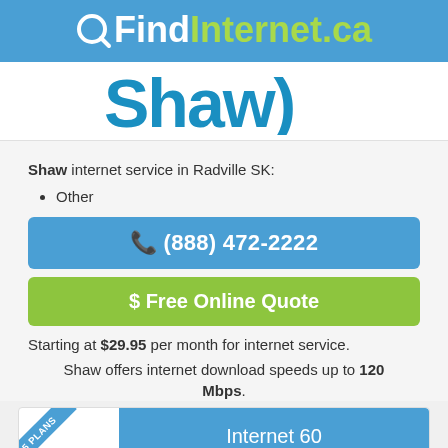QFindInternet.ca
[Figure (logo): Shaw logo in blue with stylized text]
Shaw internet service in Radville SK:
Other
(888) 472-2222
$ Free Online Quote
Starting at $29.95 per month for internet service.
Shaw offers internet download speeds up to 120 Mbps.
5 PLANS
Internet 60